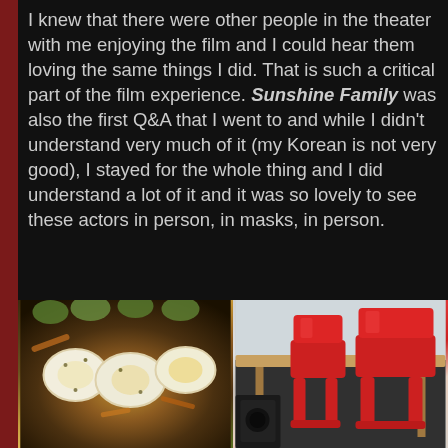I knew that there were other people in the theater with me enjoying the film and I could hear them loving the same things I did. That is such a critical part of the film experience. Sunshine Family was also the first Q&A that I went to and while I didn't understand very much of it (my Korean is not very good), I stayed for the whole thing and I did understand a lot of it and it was so lovely to see these actors in person, in masks, in person.
[Figure (photo): Close-up photo of Korean food dish with sliced boiled eggs, vegetables, and sesame seeds]
[Figure (photo): Photo of red plastic chairs at a table, likely a restaurant setting]